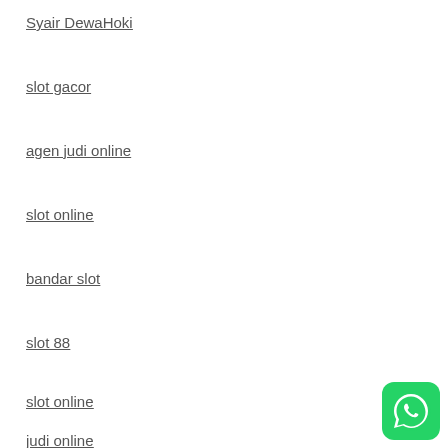Syair DewaHoki
slot gacor
agen judi online
slot online
bandar slot
slot 88
slot online
judi online
[Figure (logo): WhatsApp logo icon — green rounded square with white phone/chat bubble icon]